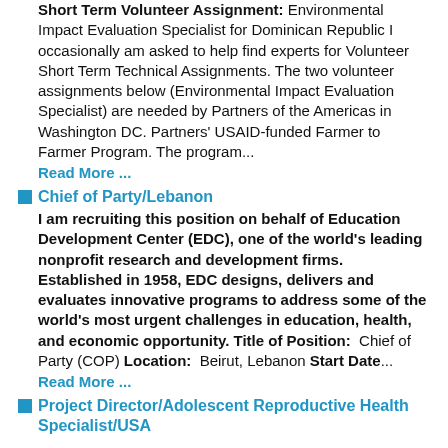Short Term Volunteer Assignment: Environmental Impact Evaluation Specialist for Dominican Republic I occasionally am asked to help find experts for Volunteer Short Term Technical Assignments. The two volunteer assignments below (Environmental Impact Evaluation Specialist) are needed by Partners of the Americas in Washington DC. Partners' USAID-funded Farmer to Farmer Program. The program...
Read More ...
Chief of Party/Lebanon
I am recruiting this position on behalf of Education Development Center (EDC), one of the world's leading nonprofit research and development firms. Established in 1958, EDC designs, delivers and evaluates innovative programs to address some of the world's most urgent challenges in education, health, and economic opportunity. Title of Position: Chief of Party (COP) Location: Beirut, Lebanon Start Date...
Read More ...
Project Director/Adolescent Reproductive Health Specialist/USA